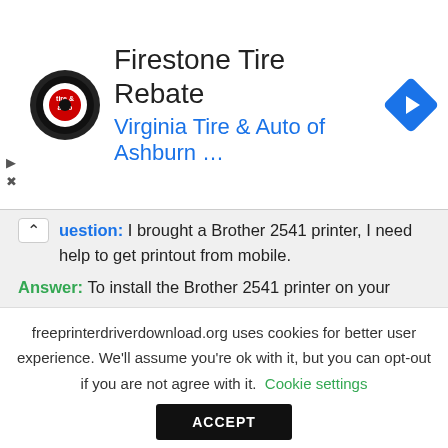[Figure (logo): Firestone Tire & Auto circular logo with navigation arrow icon]
Firestone Tire Rebate
Virginia Tire & Auto of Ashburn …
Question: I brought a Brother 2541 printer, I need help to get printout from mobile.
Answer: To install the Brother 2541 printer on your mobile, you need a Brother printer app (Brother iPrint&Scan) from google app store. After installed, use the Brother iPrint&Scan app to print and scan the documents from android mobile. See more detail on
freeprinterdriverdownload.org uses cookies for better user experience. We'll assume you're ok with it, but you can opt-out if you are not agree with it. Cookie settings
ACCEPT